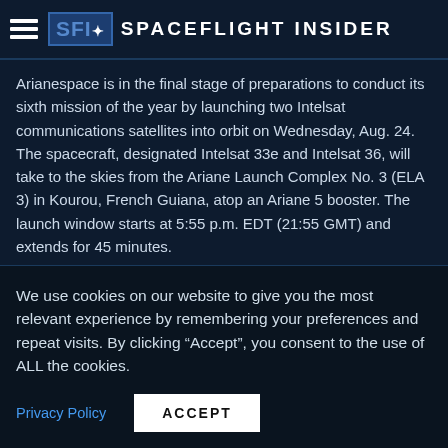Spaceflight Insider
Arianespace is in the final stage of preparations to conduct its sixth mission of the year by launching two Intelsat communications satellites into orbit on Wednesday, Aug. 24. The spacecraft, designated Intelsat 33e and Intelsat 36, will take to the skies from the Ariane Launch Complex No. 3 (ELA 3) in Kourou, French Guiana, atop an Ariane 5 booster. The launch window starts at 5:55 p.m. EDT (21:55 GMT) and extends for 45 minutes.
INTELSAT TAPS ORBITAL ATK'S MEV-1 TO EXTEND LIFE OF ORBITING SATELLITES
Jason RhianApril 13th, 2016
We use cookies on our website to give you the most relevant experience by remembering your preferences and repeat visits. By clicking “Accept”, you consent to the use of ALL the cookies.
Privacy Policy
ACCEPT